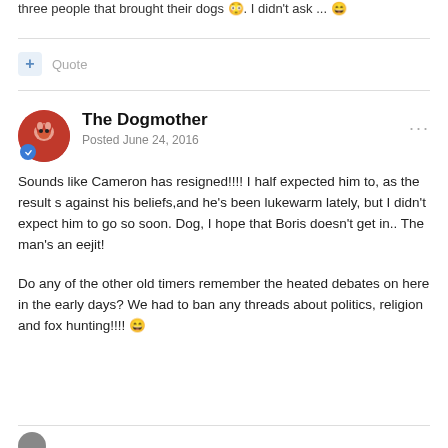three people that brought their dogs 😳. I didn't ask ... 😄
Quote
The Dogmother
Posted June 24, 2016
Sounds like Cameron has resigned!!!! I half expected him to, as the result s against his beliefs,and he's been lukewarm lately, but I didn't expect him to go so soon. Dog, I hope that Boris doesn't get in.. The man's an eejit!
Do any of the other old timers remember the heated debates on here in the early days? We had to ban any threads about politics, religion and fox hunting!!!! 😄